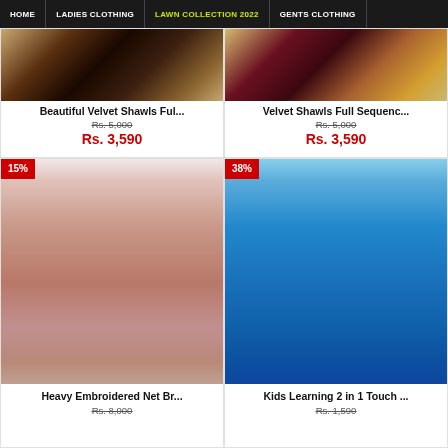HOME | LADIES CLOTHING | LAWN COLLECTION 2022 | GENTS CLOTHING
[Figure (photo): Beautiful velvet shawl with gold embroidery on dark background]
Beautiful Velvet Shawls Ful...
Rs. 5,000
Rs. 3,590
[Figure (photo): Velvet shawl with full sequence embroidery]
Velvet Shawls Full Sequenc...
Rs. 5,000
Rs. 3,590
[Figure (photo): Heavy embroidered net bridal dress on model, pink/rose gold color, 15% discount badge]
Heavy Embroidered Net Br...
Rs. 8,000
[Figure (photo): Kids Learning 2 in 1 Touch tablet toy - Paw Patrol themed, blue color, 38% discount badge]
Kids Learning 2 in 1 Touch ...
Rs. 1,590